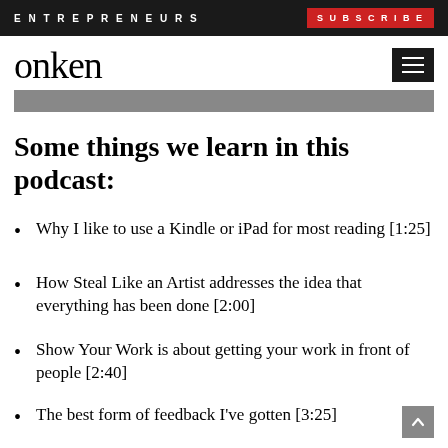ENTREPRENEURS | SUBSCRIBE
onken
Some things we learn in this podcast:
Why I like to use a Kindle or iPad for most reading [1:25]
How Steal Like an Artist addresses the idea that everything has been done [2:00]
Show Your Work is about getting your work in front of people [2:40]
The best form of feedback I've gotten [3:25]